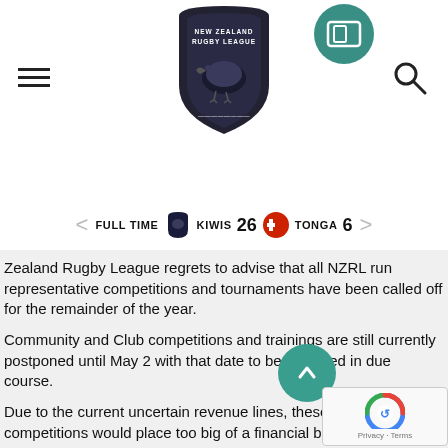[Figure (logo): New Zealand Rugby League logo - shield with kiwi bird]
[Figure (logo): App/mobile icon - teal circle with tablet/phone symbol]
FULL TIME  KIWIS 26  TONGA 6
Zealand Rugby League regrets to advise that all NZRL run representative competitions and tournaments have been called off for the remainder of the year.
Community and Club competitions and trainings are still currently postponed until May 2 with that date to be reviewed in due course.
Due to the current uncertain revenue lines, these representative competitions would place too big of a financial burden on the Zones. International rugby league has also been cancelled for the foreseeable future, and NZRL has ceased all non-essential expenditure.
Greg Peters, NZRL CEO, “We are extremely disappointe these competitions will not happen in 2020, but unfortuna was a decision that had to be made for the financial longe NZRL